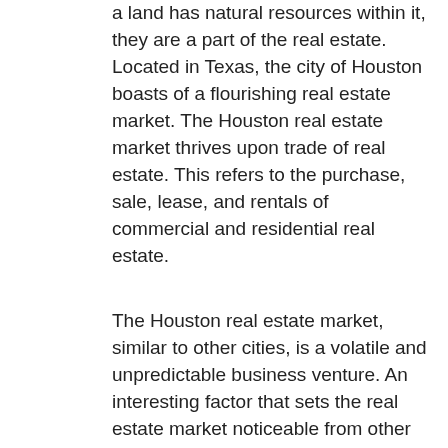a land has natural resources within it, they are a part of the real estate. Located in Texas, the city of Houston boasts of a flourishing real estate market. The Houston real estate market thrives upon trade of real estate. This refers to the purchase, sale, lease, and rentals of commercial and residential real estate.
The Houston real estate market, similar to other cities, is a volatile and unpredictable business venture. An interesting factor that sets the real estate market noticeable from other trades is its fluctuating nature. Rather than being solely influenced by global recession and inflation, real estate price points are largely dependent upon local factors. Prices of immediate neighborhood properties and local events proportionately affect real estate prices instead of variations at the stock exchange. Improvements in the economy have increased purchase power, prompting a large number of people to buy real estate. Such deals could revolve around residential, commercial or investment property. Since real estate deals can revolve around financial commitments that cannot be borne all